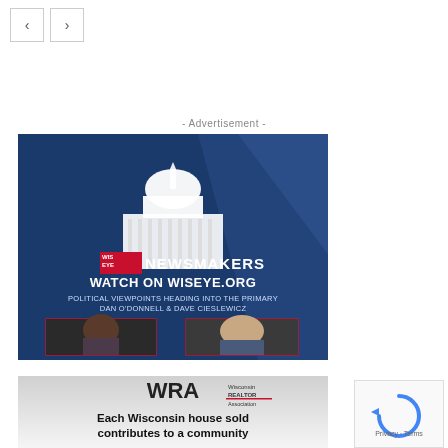[Figure (other): Navigation previous/next arrow buttons]
- Advertisement -
[Figure (screenshot): WisEye Newsmakers advertisement banner. Shows Wisconsin Capitol building, text: WATCH ON WISEYE.ORG, POLITICAL VIEWPOINTS HEADING INTO THE PRIMARY, DAN O'DONNELL & DAVE CIESLEWICZ, with two portrait photos of the hosts.]
[Figure (screenshot): WRA Wisconsin Realtors Association advertisement. Text: Each Wisconsin house sold contributes to a community]
[Figure (other): reCAPTCHA privacy widget showing Privacy - Terms]